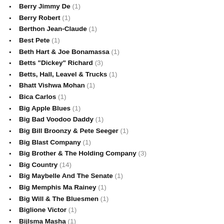Berry Jimmy De (1)
Berry Robert (1)
Berthon Jean-Claude (1)
Best Pete (1)
Beth Hart & Joe Bonamassa (1)
Betts "Dickey" Richard (3)
Betts, Hall, Leavel & Trucks (1)
Bhatt Vishwa Mohan (1)
Bica Carlos (1)
Big Apple Blues (1)
Big Bad Voodoo Daddy (1)
Big Bill Broonzy & Pete Seeger (1)
Big Blast Company (1)
Big Brother & The Holding Company (3)
Big Country (14)
Big Maybelle And The Senate (1)
Big Memphis Ma Rainey (1)
Big Will & The Bluesmen (1)
Biglione Victor (1)
Bijlsma Masha (1)
Bilk Acker (8)
Bill Bruford & Michiel Borstlap (1)